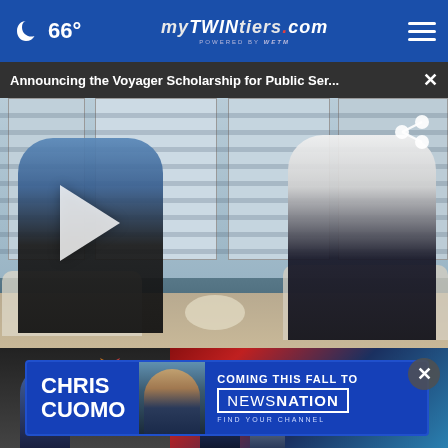66° mytwintiers.com
Announcing the Voyager Scholarship for Public Ser...
[Figure (photo): Video thumbnail showing two men seated in chairs having a conversation in a bright room with window blinds. A play button triangle is visible on the left side. A share icon is in the top-right corner.]
[Figure (photo): Advertisement featuring Chris Cuomo - Coming this Fall to NewsNation. Find your channel. Background shows NBC News studio.]